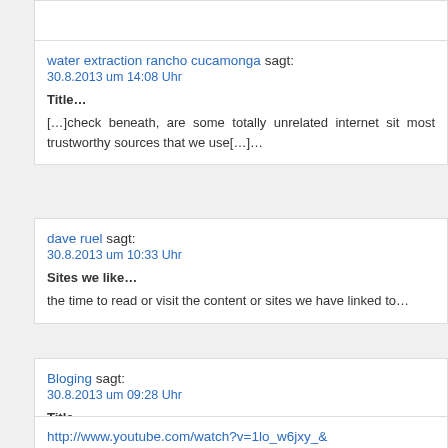(partial comment block at top)
water extraction rancho cucamonga sagt:
30.8.2013 um 14:08 Uhr

Title…

[…]check beneath, are some totally unrelated internet sit most trustworthy sources that we use[…]…
dave ruel sagt:
30.8.2013 um 10:33 Uhr

Sites we like…

the time to read or visit the content or sites we have linked to…
Bloging sagt:
30.8.2013 um 09:28 Uhr

Title…

[…]Every after in a although we opt for blogs that we read latest web sites that we pick out […]…
http://www.youtube.com/watch?v=1lo_w6jxy_&…